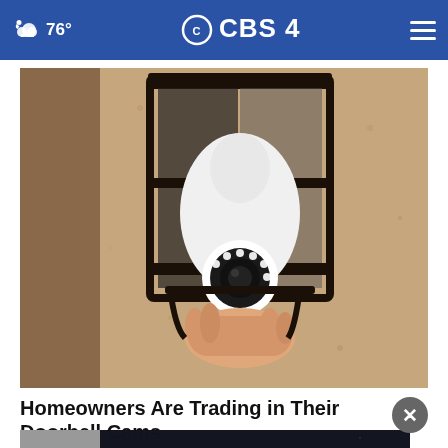76° CBS42
[Figure (photo): A person installing a light bulb security camera into an outdoor wall lantern fixture mounted on a stucco wall.]
Homeowners Are Trading in Their Doorbell Cams for This.
Surse...
[Figure (infographic): SHE CAN STEM advertisement overlay banner in dark background.]